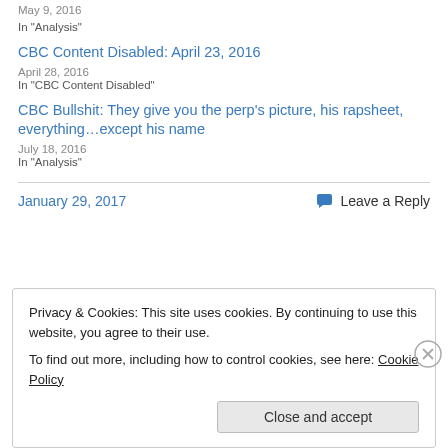May 9, 2016
In "Analysis"
CBC Content Disabled: April 23, 2016
April 28, 2016
In "CBC Content Disabled"
CBC Bullshit: They give you the perp's picture, his rapsheet, everything…except his name
July 18, 2016
In "Analysis"
January 29, 2017
Leave a Reply
Privacy & Cookies: This site uses cookies. By continuing to use this website, you agree to their use.
To find out more, including how to control cookies, see here: Cookie Policy
Close and accept